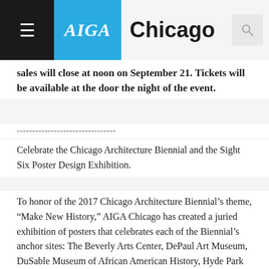AIGA Chicago
sales will close at noon on September 21. Tickets will be available at the door the night of the event.
--------------------------------
Celebrate the Chicago Architecture Biennial and the Sight Six Poster Design Exhibition.
To honor of the 2017 Chicago Architecture Biennial’s theme, “Make New History,” AIGA Chicago has created a juried exhibition of posters that celebrates each of the Biennial’s anchor sites: The Beverly Arts Center, DePaul Art Museum, DuSable Museum of African American History, Hyde Park Art Center, The National Museum of Mexican Art and The National Museum of Puerto Rican Arts and Culture. Featuring work by Donnie Gardner, Hemza Hajyousif, Beth Johnson, Samantha Mancini, Christopher Margelis, Anna McKendrick